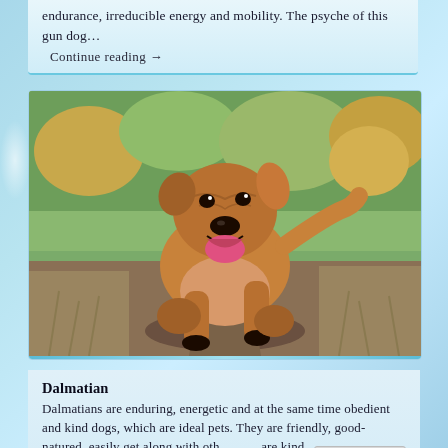endurance, irreducible energy and mobility. The psyche of this gun dog…
Continue reading →
[Figure (photo): A tan/brown muscular dog (resembling a Staffordshire/mixed breed) running toward the camera on a dirt path, mouth open and tongue out, with trees and dry grass in the background.]
Dalmatian
Dalmatians are enduring, energetic and at the same time obedient and kind dogs, which are ideal pets. They are friendly, good-natured, easily get along with oth... are kind…
…